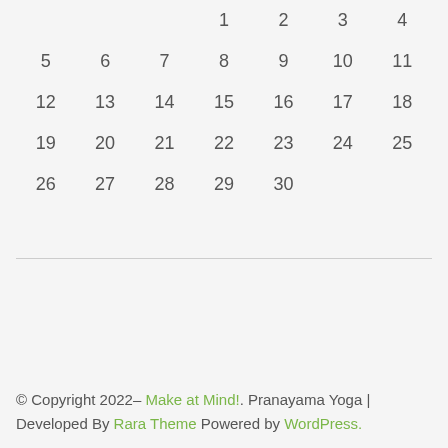| Sun | Mon | Tue | Wed | Thu | Fri | Sat |
| --- | --- | --- | --- | --- | --- | --- |
|  |  |  | 1 | 2 | 3 | 4 |
| 5 | 6 | 7 | 8 | 9 | 10 | 11 |
| 12 | 13 | 14 | 15 | 16 | 17 | 18 |
| 19 | 20 | 21 | 22 | 23 | 24 | 25 |
| 26 | 27 | 28 | 29 | 30 |  |  |
© Copyright 2022 Make at Mind!. Pranayama Yoga | Developed By Rara Theme Powered by WordPress.